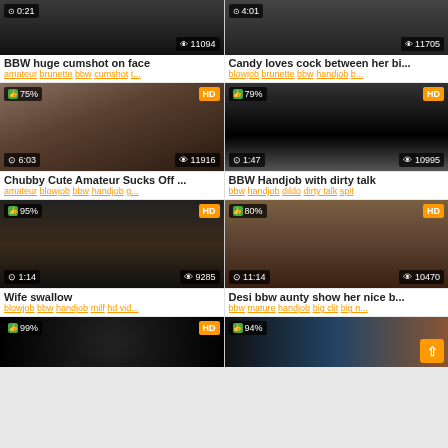[Figure (screenshot): Video thumbnail grid showing adult content videos with titles, tags, view counts, duration, and like percentages]
BBW huge cumshot on face
amateur brunette bbw cumshot t...
Candy loves cock between her bi...
blowjob brunette bbw handjob b...
Chubby Cute Amateur Sucks Off ...
amateur blowjob bbw handjob g...
BBW Handjob with dirty talk
bbw handjob dildo dirty talk spit
Wife swallow
blowjob bbw handjob milf hd vid...
Desi bbw aunty show her nice b...
bbw mature handjob big clit big n...